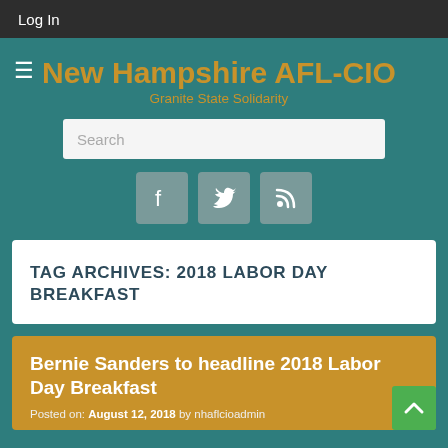Log In
New Hampshire AFL-CIO
Granite State Solidarity
Search
TAG ARCHIVES: 2018 LABOR DAY BREAKFAST
Bernie Sanders to headline 2018 Labor Day Breakfast
Posted on: August 12, 2018 by nhaflcioadmin